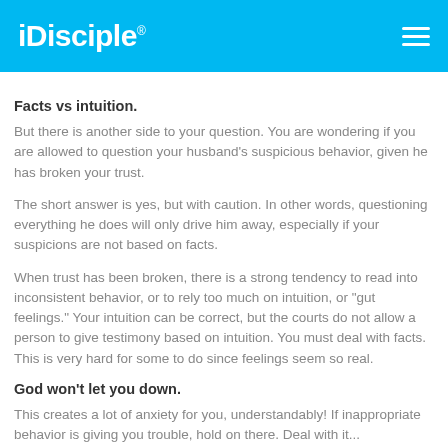iDisciple
Facts vs intuition.
But there is another side to your question. You are wondering if you are allowed to question your husband's suspicious behavior, given he has broken your trust.
The short answer is yes, but with caution. In other words, questioning everything he does will only drive him away, especially if your suspicions are not based on facts.
When trust has been broken, there is a strong tendency to read into inconsistent behavior, or to rely too much on intuition, or "gut feelings." Your intuition can be correct, but the courts do not allow a person to give testimony based on intuition. You must deal with facts. This is very hard for some to do since feelings seem so real.
God won't let you down.
This creates a lot of anxiety for you, understandably! If inappropriate behavior is giving you trouble, hold on there. Deal with it...